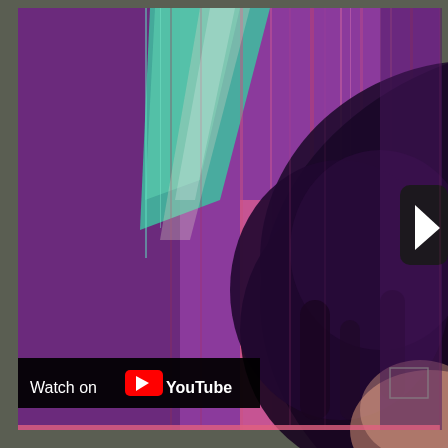[Figure (photo): A YouTube video thumbnail/screenshot showing a person with dark hair viewed from behind, with a heavily glitch-art processed image in purple, pink, teal, and magenta tones with vertical streak effects. A YouTube play button icon appears in the upper right corner (partially visible). At the bottom left is a black bar with 'Watch on YouTube' text with the YouTube logo. The image has a dark gray/olive border on the left and bottom edges.]